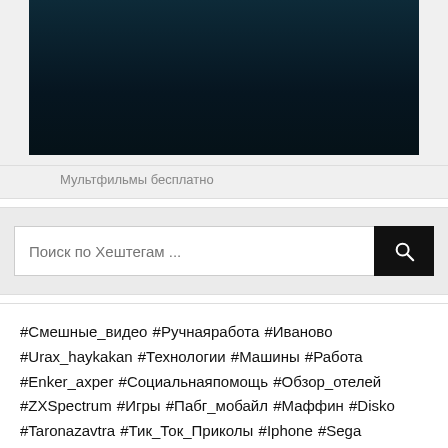[Figure (screenshot): Dark blue/teal video thumbnail screenshot]
Мультфильмы бесплатно
[Figure (screenshot): Search bar with placeholder text 'Поиск по Хештегам ...' and a black search button with magnifying glass icon]
#Смешные_видео #Ручнаяработа #Иваново #Urax_haykakan #Технологии #Машины #Работа #Enker_axper #Социальнаяпомощь #Обзор_отелей #ZXSpectrum #Игры #Пабг_мобайл #Маффин #Disko #Taronazavtra #Тик_Ток_Приколы #Iphone #Sega #Сделаноруками #Новинки #Стримы_на_русском #Unity3dgames #Dayz_выживание #Копатель #Нижний_Новгород #Розигришлар #Дома #Miband #Karate #Гони #Дейзи #Плач #Розигришифинал